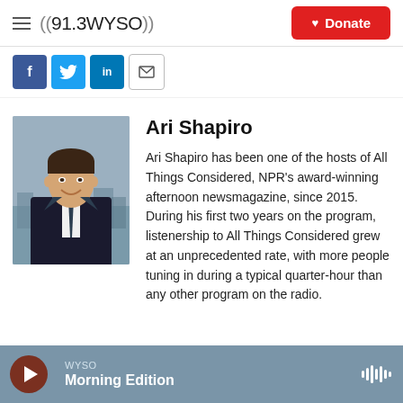((91.3 WYSO)) Donate
[Figure (screenshot): Social sharing icons: Facebook, Twitter, LinkedIn, Email]
[Figure (photo): Headshot of Ari Shapiro in a black suit and tie, smiling, with a cityscape background]
Ari Shapiro
Ari Shapiro has been one of the hosts of All Things Considered, NPR's award-winning afternoon newsmagazine, since 2015. During his first two years on the program, listenership to All Things Considered grew at an unprecedented rate, with more people tuning in during a typical quarter-hour than any other program on the radio.
WYSO Morning Edition